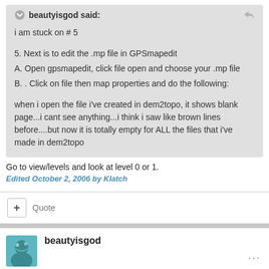beautyisgod said:
i am stuck on # 5
5. Next is to edit the .mp file in GPSmapedit
A. Open gpsmapedit, click file open and choose your .mp file
B. . Click on file then map properties and do the following:
when i open the file i've created in dem2topo, it shows blank page...i cant see anything...i think i saw like brown lines before....but now it is totally empty for ALL the files that i've made in dem2topo
Go to view/levels and look at level 0 or 1.
Edited October 2, 2006 by Klatch
Quote
beautyisgod